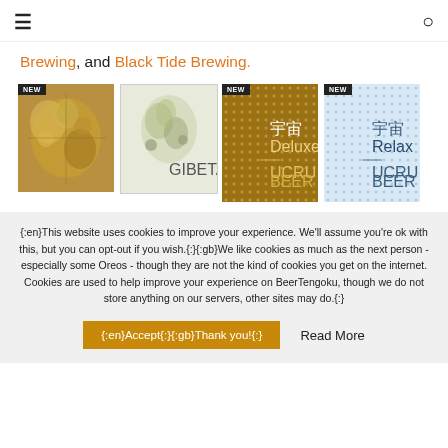Navigation header with hamburger menu and search icon
Brewing, and Black Tide Brewing.
[Figure (photo): Four beer product images in a row: (1) hop/grain image with NEW badge, (2) illustrated beer label - Gibeta, (3) 宇宙 Deluxe brown label with NEW badge, (4) 宇宙 Relax light blue label with NEW badge]
{:en}This website uses cookies to improve your experience. We'll assume you're ok with this, but you can opt-out if you wish.{:}{:gb}We like cookies as much as the next person - especially some Oreos - though they are not the kind of cookies you get on the internet. Cookies are used to help improve your experience on BeerTengoku, though we do not store anything on our servers, other sites may do.{:}
{:en}Accept{:}{:gb}Thank you!{:}   Read More